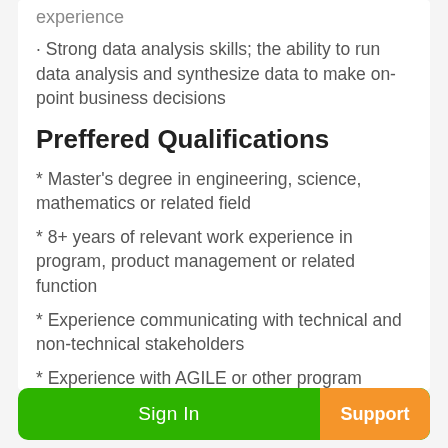experience
· Strong data analysis skills; the ability to run data analysis and synthesize data to make on-point business decisions
Preffered Qualifications
* Master's degree in engineering, science, mathematics or related field
* 8+ years of relevant work experience in program, product management or related function
* Experience communicating with technical and non-technical stakeholders
* Experience with AGILE or other program management methodologies
* Demonstrated track record of cultivating strong working relationships and driving collaboration across multiple technical and operations teams
Sign In | Support